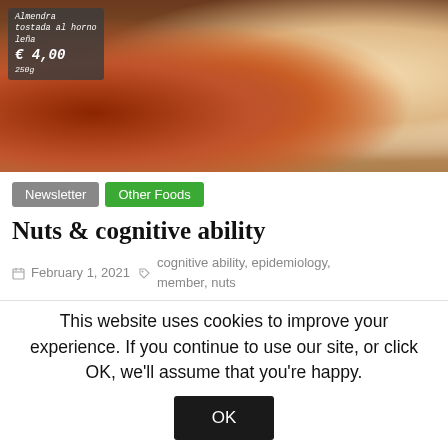[Figure (photo): Burlap sacks of nuts at a market stall with a chalkboard price sign reading 'Almendra tostada al horno leña € 4,00 250g']
Newsletter   Other Foods
Nuts & cognitive ability
February 1, 2021   cognitive ability, epidemiology, member, nuts
Executive summary * A study was published which claimed that intake of nuts was inversely related to risk of cognitive
This website uses cookies to improve your experience. If you continue to use our site, or click OK, we'll assume that you're happy.